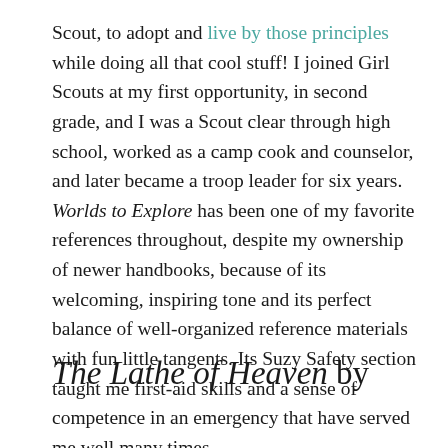Scout, to adopt and live by those principles while doing all that cool stuff!  I joined Girl Scouts at my first opportunity, in second grade, and I was a Scout clear through high school, worked as a camp cook and counselor, and later became a troop leader for six years.  Worlds to Explore has been one of my favorite references throughout, despite my ownership of newer handbooks, because of its welcoming, inspiring tone and its perfect balance of well-organized reference materials with fun little tangents.  Its Suzy Safety section taught me first-aid skills and a sense of competence in an emergency that have served me well many times.
The Lathe of Heaven by